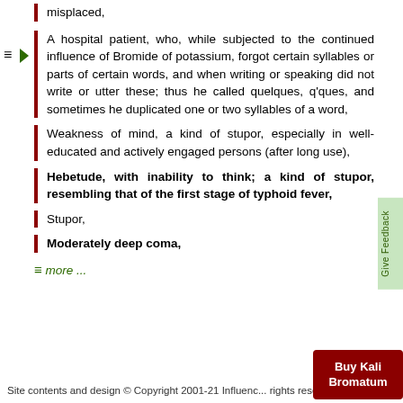misplaced,
A hospital patient, who, while subjected to the continued influence of Bromide of potassium, forgot certain syllables or parts of certain words, and when writing or speaking did not write or utter these; thus he called quelques, q'ques, and sometimes he duplicated one or two syllables of a word,
Weakness of mind, a kind of stupor, especially in well-educated and actively engaged persons (after long use),
Hebetude, with inability to think; a kind of stupor, resembling that of the first stage of typhoid fever,
Stupor,
Moderately deep coma,
≡ more ...
Site contents and design © Copyright 2001-21 Influenc... rights reserved.